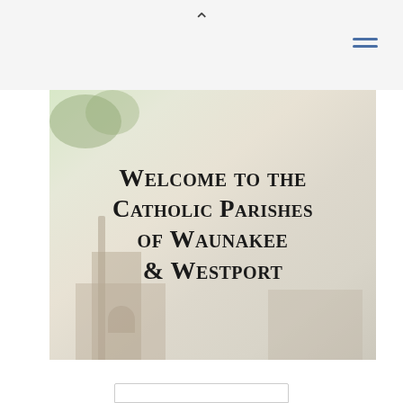^ (chevron up / hamburger menu)
[Figure (photo): Church buildings exterior photo with tall Gothic-style stone church tower on the left and a modern parish building on the right, with trees and greenery visible, serving as background for welcome text overlay]
Welcome to the Catholic Parishes of Waunakee & Westport